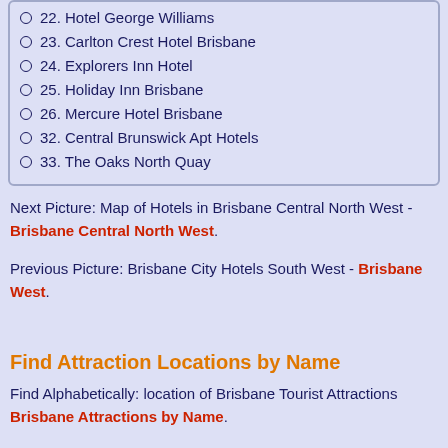22. Hotel George Williams
23. Carlton Crest Hotel Brisbane
24. Explorers Inn Hotel
25. Holiday Inn Brisbane
26. Mercure Hotel Brisbane
32. Central Brunswick Apt Hotels
33. The Oaks North Quay
Next Picture: Map of Hotels in Brisbane Central North West - Brisbane Central North West.
Previous Picture: Brisbane City Hotels South West - Brisbane West.
Find Attraction Locations by Name
Find Alphabetically: location of Brisbane Tourist Attractions Brisbane Attractions by Name.